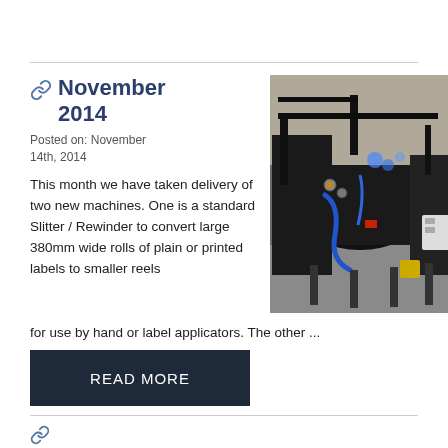November 2014
Posted on: November 14th, 2014
This month we have taken delivery of two new machines. One is a standard Slitter / Rewinder to convert large 380mm wide rolls of plain or printed labels to smaller reels for use by hand or label applicators. The other ...
[Figure (photo): Industrial label slitter/rewinder machines in a factory setting, black machinery with blue cables and tubing visible]
READ MORE